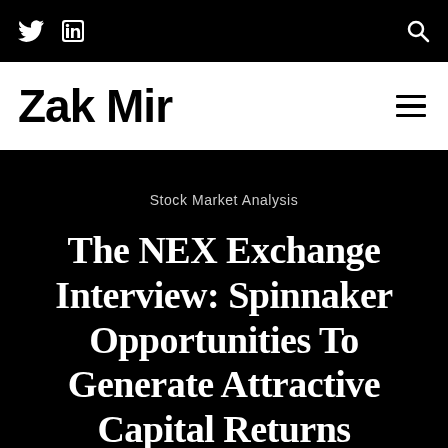Twitter | LinkedIn | Search
Zak Mir
Stock Market Analysis
The NEX Exchange Interview: Spinnaker Opportunities To Generate Attractive Capital Returns